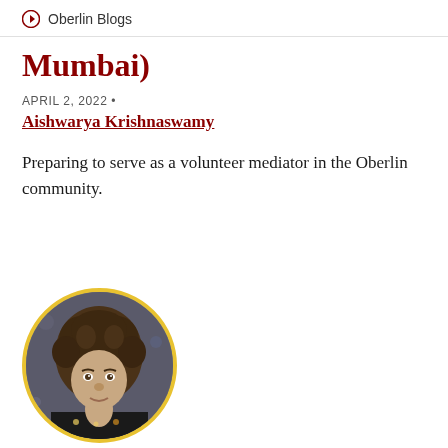Oberlin Blogs
Mumbai)
APRIL 2, 2022 •
Aishwarya Krishnaswamy
Preparing to serve as a volunteer mediator in the Oberlin community.
[Figure (photo): Circular portrait photo of a person with curly brown hair, yellow border, against a dark background]